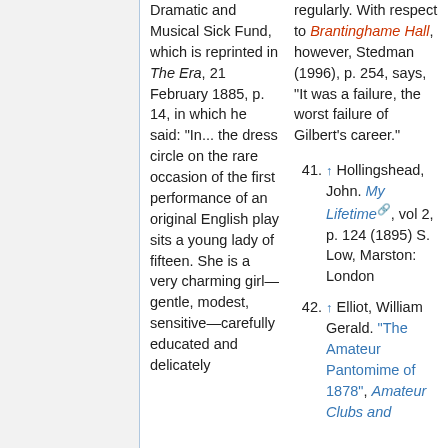Dramatic and Musical Sick Fund, which is reprinted in The Era, 21 February 1885, p. 14, in which he said: "In... the dress circle on the rare occasion of the first performance of an original English play sits a young lady of fifteen. She is a very charming girl—gentle, modest, sensitive—carefully educated and delicately
41. ↑ Hollingshead, John. My Lifetime, vol 2, p. 124 (1895) S. Low, Marston: London
42. ↑ Elliot, William Gerald. "The Amateur Pantomime of 1878", Amateur Clubs and
regularly. With respect to Brantinghame Hall, however, Stedman (1996), p. 254, says, "It was a failure, the worst failure of Gilbert's career."